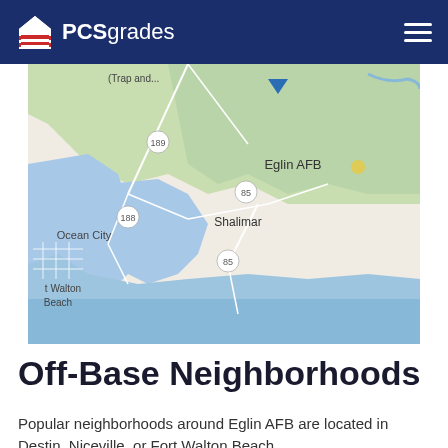PCSgrades
[Figure (map): Google map showing Eglin AFB area in Florida, including labeled locations: Eglin AFB, Shalimar, Ocean City, Fort Walton Beach, and highway markers 189, 188, 85. Map shows coastal geography with blue water (Gulf of Mexico) and green land areas.]
Off-Base Neighborhoods
Popular neighborhoods around Eglin AFB are located in Destin, Niceville, or Fort Walton Beach